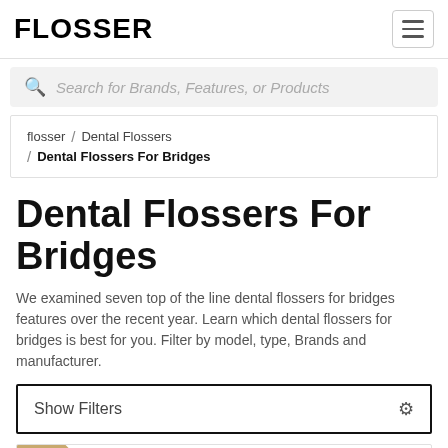FLOSSER
Search for Brands, Features, or Products
flosser / Dental Flossers / Dental Flossers For Bridges
Dental Flossers For Bridges
We examined seven top of the line dental flossers for bridges features over the recent year. Learn which dental flossers for bridges is best for you. Filter by model, type, Brands and manufacturer.
Show Filters